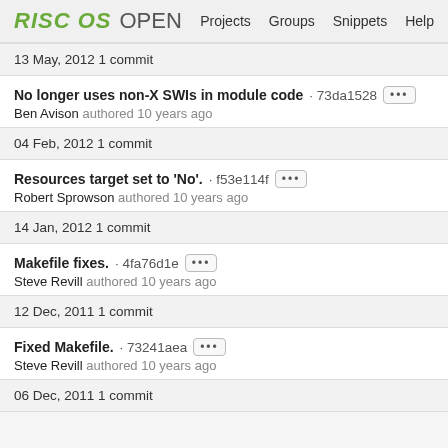RISC OS OPEN | Projects | Groups | Snippets | Help
13 May, 2012 1 commit
No longer uses non-X SWIs in module code · 73da1528 [...] Ben Avison authored 10 years ago
04 Feb, 2012 1 commit
Resources target set to 'No'. · f53e114f [...] Robert Sprowson authored 10 years ago
14 Jan, 2012 1 commit
Makefile fixes. · 4fa76d1e [...] Steve Revill authored 10 years ago
12 Dec, 2011 1 commit
Fixed Makefile. · 73241aea [...] Steve Revill authored 10 years ago
06 Dec, 2011 1 commit